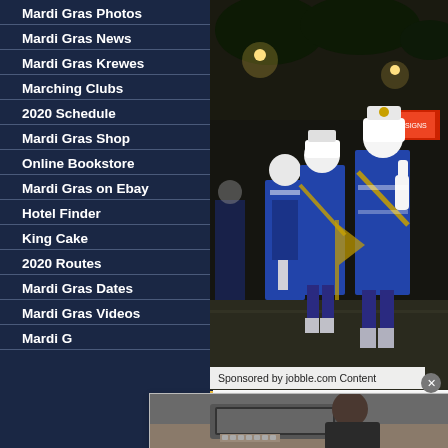Mardi Gras Photos
Mardi Gras News
Mardi Gras Krewes
Marching Clubs
2020 Schedule
Mardi Gras Shop
Online Bookstore
Mardi Gras on Ebay
Hotel Finder
King Cake
2020 Routes
Mardi Gras Dates
Mardi Gras Videos
Mardi G...
[Figure (photo): Marching band members in blue and white uniforms with white helmets marching at night during Mardi Gras parade]
Sponsored by jobble.com Content
[Figure (screenshot): Advertisement for jobble.com showing person typing on laptop. Text: arbor terrace senior living Public Accounting - Senior Jobs in Ashburn Apply Now. Button: LEARN MORE]